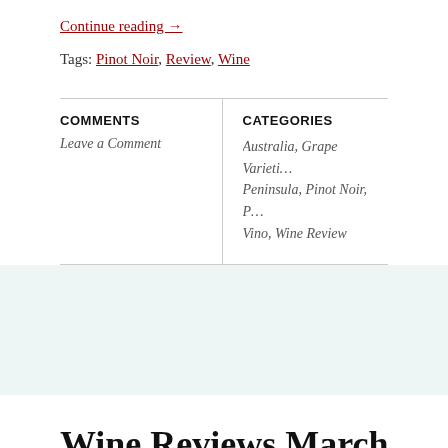Continue reading →
Tags: Pinot Noir, Review, Wine
COMMENTS
Leave a Comment
CATEGORIES
Australia, Grape Varieties, Mornington Peninsula, Pinot Noir, Pét-nat, Vino, Wine Review
Wine Reviews March